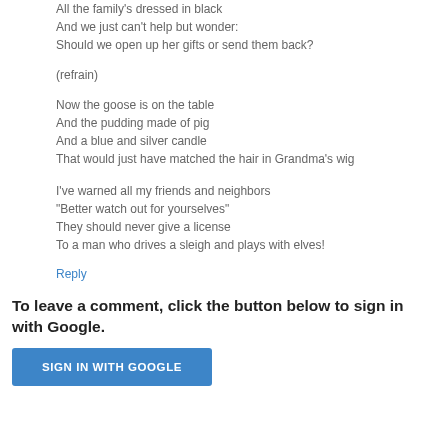All the family's dressed in black
And we just can't help but wonder:
Should we open up her gifts or send them back?
(refrain)
Now the goose is on the table
And the pudding made of pig
And a blue and silver candle
That would just have matched the hair in Grandma's wig
I've warned all my friends and neighbors
"Better watch out for yourselves"
They should never give a license
To a man who drives a sleigh and plays with elves!
Reply
To leave a comment, click the button below to sign in with Google.
SIGN IN WITH GOOGLE